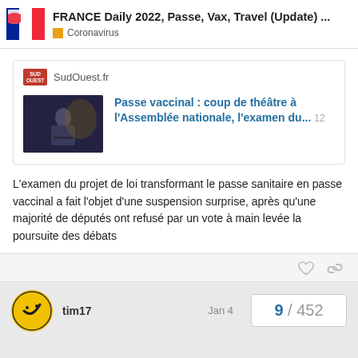FRANCE Daily 2022, Passe, Vax, Travel (Update) ...
Coronavirus
[Figure (screenshot): SudOuest.fr article link preview with thumbnail image of a man at a podium, article title: Passe vaccinal : coup de théâtre à l'Assemblée nationale, l'examen du... 12]
L'examen du projet de loi transformant le passe sanitaire en passe vaccinal a fait l'objet d'une suspension surprise, après qu'une majorité de députés ont refusé par un vote à main levée la poursuite des débats
tim17
Jan 4
9 / 452